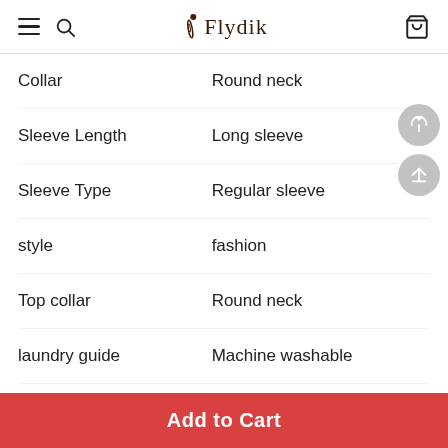Flydik
| Attribute | Value |
| --- | --- |
| Collar | Round neck |
| Sleeve Length | Long sleeve |
| Sleeve Type | Regular sleeve |
| style | fashion |
| Top collar | Round neck |
| laundry guide | Machine washable |
| Dress occasion | daily／Leisure |
Add to Cart